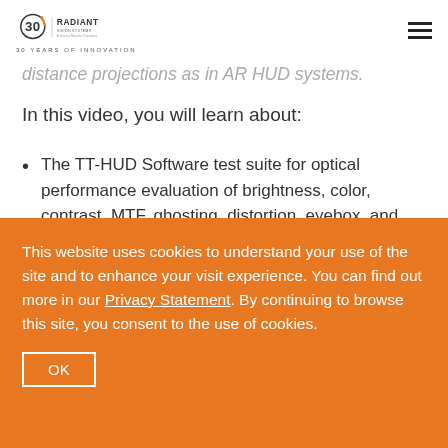Radiant Vision Systems — 30 Years of Innovation
distance projections as in AR HUD systems.
In this video, you will learn about:
The TT-HUD Software test suite for optical performance evaluation of brightness, color, contrast, MTF, ghosting, distortion, eyebox, and more.
This website uses cookies to understand your use of the site and to enhance your visit experience. You can find out more in our Privacy Statement. By continuing to browse this site, you consent to the use of cookies.
OK